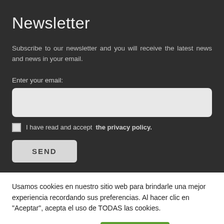Newsletter
Subscribe to our newsletter and you will receive the latest news and news in your email.
Enter your email:
I have read and accept  the privacy policy.
SEND
Usamos cookies en nuestro sitio web para brindarle una mejor experiencia recordando sus preferencias. Al hacer clic en "Aceptar", acepta el uso de TODAS las cookies.
Configuración de cookies
ACEPTAR